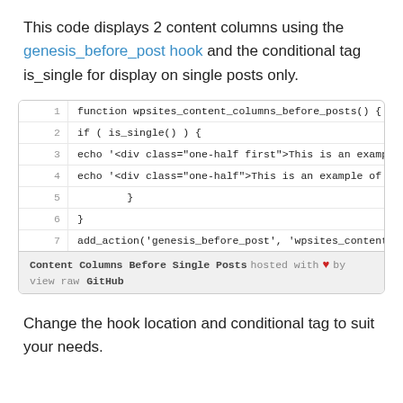This code displays 2 content columns using the genesis_before_post hook and the conditional tag is_single for display on single posts only.
[Figure (screenshot): Code block showing a PHP function wpsites_content_columns_before_posts() with 7 lines, using is_single() conditional and add_action for genesis_before_post hook. Footer reads 'Content Columns Before Single Posts hosted with heart by view raw GitHub'.]
Change the hook location and conditional tag to suit your needs.